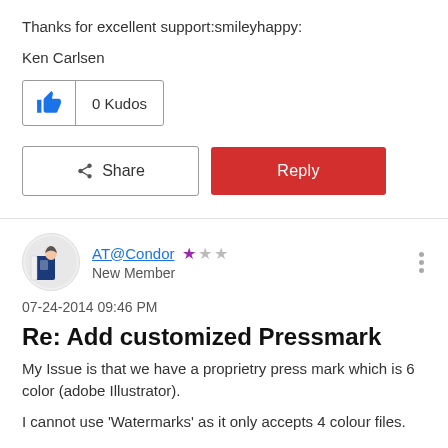Thanks for excellent support:smileyhappy:
Ken Carlsen
[Figure (other): Kudos button with thumbs up icon showing 0 Kudos]
[Figure (other): Share button and red Reply button]
[Figure (other): User avatar image showing a person with blue shirt and papers]
AT@Condor New Member
07-24-2014 09:46 PM
Re: Add customized Pressmark
My Issue is that we have a proprietry press mark which is 6 color (adobe Illustrator).
I cannot use 'Watermarks' as it only accepts 4 colour files.